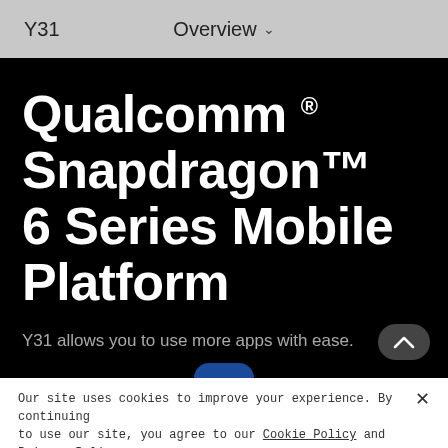Y31   Overview ˅
Qualcomm ® Snapdragon™ 6 Series Mobile Platform
Y31 allows you to use more apps with ease.
Our site uses cookies to improve your experience. By continuing to use our site, you agree to our Cookie Policy and Privacy Policy.